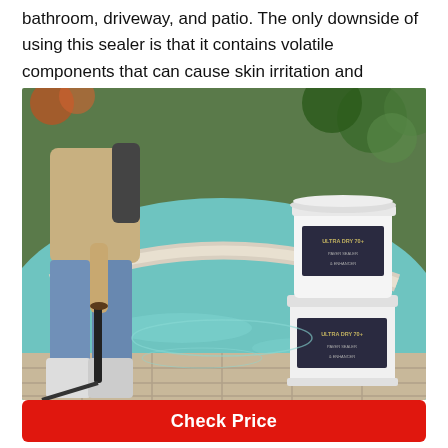bathroom, driveway, and patio. The only downside of using this sealer is that it contains volatile components that can cause skin irritation and shouldn't be inhaled.
[Figure (photo): A person in jeans and rubber boots holding a spray wand standing beside a swimming pool, with two white buckets of sealer product (Ultra Dry 70+) stacked near the pool edge. Green tropical plants visible in the background.]
Check Price